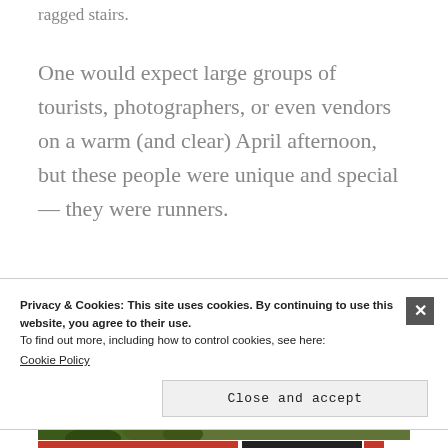ragged stairs.
One would expect large groups of tourists, photographers, or even vendors on a warm (and clear) April afternoon, but these people were unique and special— they were runners.
[Figure (photo): Outdoor landscape photograph showing green shrubs and trees in the foreground with misty mountain ridges in the background under a hazy sky.]
Privacy & Cookies: This site uses cookies. By continuing to use this website, you agree to their use.
To find out more, including how to control cookies, see here:
Cookie Policy
Close and accept